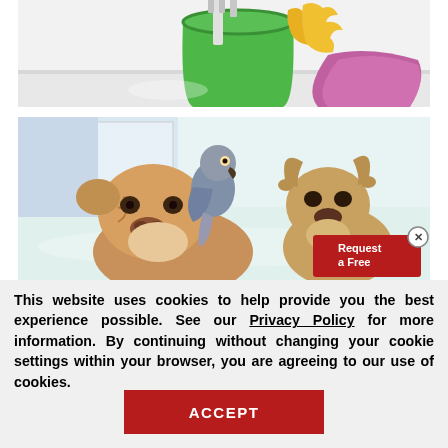[Figure (photo): Cleaning supplies: green bucket with brush, yellow rubber gloves, and pink/purple cleaning cloth on a light surface]
[Figure (photo): Pets photo: two bulldogs and a grey parrot sitting on the floor; a red 'Request a Free' button overlay with close (x) button in the bottom right corner]
This website uses cookies to help provide you the best experience possible. See our Privacy Policy for more information. By continuing without changing your cookie settings within your browser, you are agreeing to our use of cookies.
ACCEPT